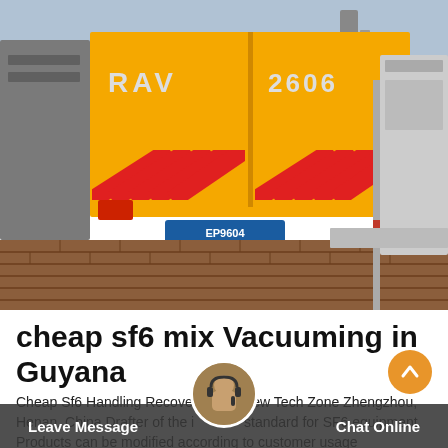[Figure (photo): Yellow truck with 'RAV 2606' markings and red/yellow hazard stripes parked at an industrial or electrical substation site, with brick pavement and electrical equipment visible]
cheap sf6 mix Vacuuming in Guyana
Cheap Sf6 Handling Recovery. High-new Tech Zone Zhengzhou, Henan, China Drafter of the industry standard for SF6 equipment. Products can be modified according to customer usage